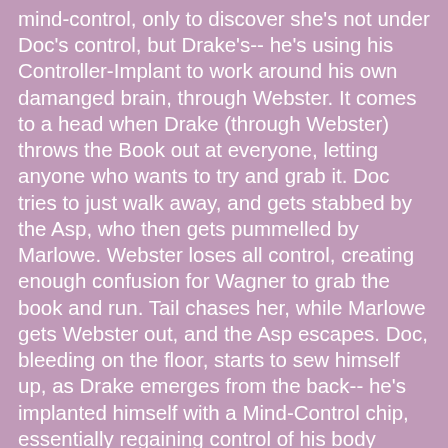mind-control, only to discover she's not under Doc's control, but Drake's-- he's using his Controller-Implant to work around his own damanged brain, through Webster. It comes to a head when Drake (through Webster) throws the Book out at everyone, letting anyone who wants to try and grab it. Doc tries to just walk away, and gets stabbed by the Asp, who then gets pummelled by Marlowe. Webster loses all control, creating enough confusion for Wagner to grab the book and run. Tail chases her, while Marlowe gets Webster out, and the Asp escapes. Doc, bleeding on the floor, starts to sew himself up, as Drake emerges from the back-- he's implanted himself with a Mind-Control chip, essentially regaining control of his body around his brain-damage by mind-controlling himself.
Notes: This episode came off pretty poorly, actually. In no small part to Heather, who played Asp, missing several rehearsals. Plus a major aspect were fight scenes between Heather and Marion, neither of whom were very deft at stage-fighting-- so it lacked panache. We also lost Ryan as Tail, forcing us to scramble to recast. Renato was an excellent substitution, pretty much game for whatever we threw at him. Further problems were caused by trouble at the Dublin Pub in that famous...